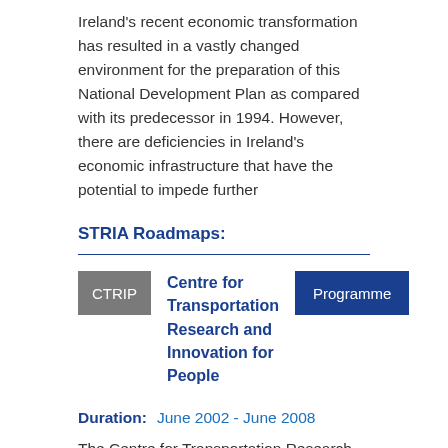Ireland's recent economic transformation has resulted in a vastly changed environment for the preparation of this National Development Plan as compared with its predecessor in 1994. However, there are deficiencies in Ireland's economic infrastructure that have the potential to impede further
STRIA Roadmaps:
[Figure (other): Horizontal divider line in blue]
CTRIP  Centre for Transportation Research and Innovation for People  Programme
Duration:   June 2002 - June 2008
The Centre for Transportation Research and Innovation for People (TRIP) is a multidisciplinary